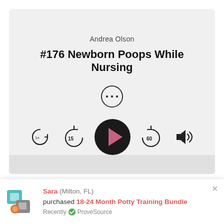[Figure (screenshot): Podcast player UI showing Andrea Olson episode #176 Newborn Poops While Nursing with playback controls: speed (1x), rewind 15s, play button, forward 60s, and volume]
That look, that grunt...right smack in the middle of breastfeeding (or bottle feeding). What is an
[Figure (infographic): ProveSource notification banner: Sara (Milton, FL) purchased 18-24 Month Potty Training Bundle. Recently verified by ProveSource.]